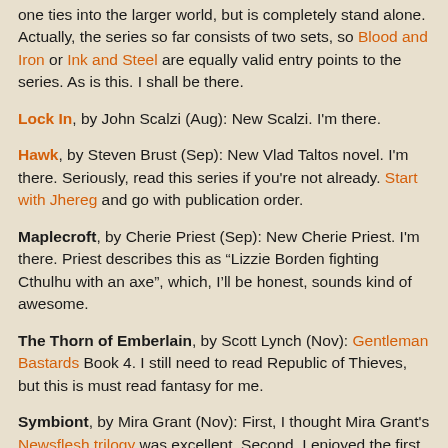one ties into the larger world, but is completely stand alone. Actually, the series so far consists of two sets, so Blood and Iron or Ink and Steel are equally valid entry points to the series. As is this. I shall be there.
Lock In, by John Scalzi (Aug): New Scalzi.  I'm there.
Hawk, by Steven Brust (Sep): New Vlad Taltos novel.  I'm there.  Seriously, read this series if you're not already. Start with Jhereg and go with publication order.
Maplecroft, by Cherie Priest (Sep): New Cherie Priest. I'm there.  Priest describes this as “Lizzie Borden fighting Cthulhu with an axe”, which, I’ll be honest, sounds kind of awesome.
The Thorn of Emberlain, by Scott Lynch (Nov): Gentleman Bastards Book 4.  I still need to read Republic of Thieves, but this is must read fantasy for me.
Symbiont, by Mira Grant (Nov): First, I thought Mira Grant's Newsflesh trilogy was excellent.  Second, I enjoyed the first